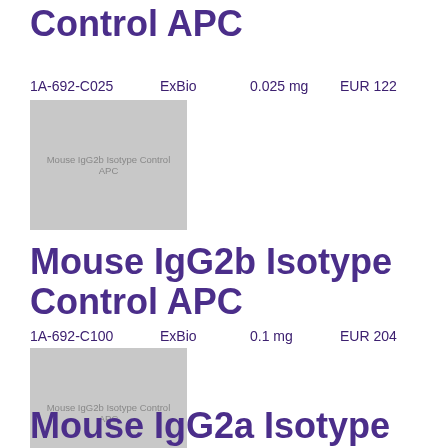Control APC
1A-692-C025    ExBio    0.025 mg    EUR 122
[Figure (photo): Product image placeholder for Mouse IgG2b Isotype Control APC]
Mouse IgG2b Isotype Control APC
1A-692-C100    ExBio    0.1 mg    EUR 204
[Figure (photo): Product image placeholder for Mouse IgG2b Isotype Control APC]
Mouse IgG2a Isotype